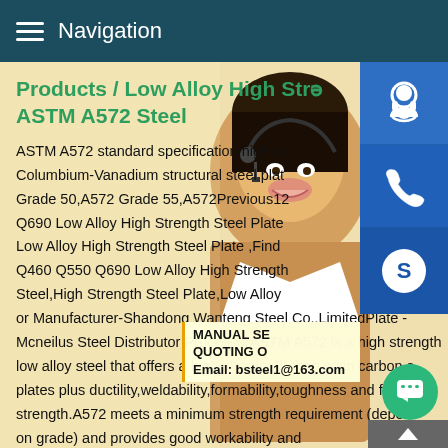Navigation
Products / Low Alloy High Strength ASTM A572 Steel
ASTM A572 standard specification high strength low-alloy Columbium-Vanadium structural steel plate Grade 50,A572 Grade 55,A572Previous12... Q690 Low Alloy High Strength Steel Plate Low Alloy High Strength Steel Plate ,Find Q460 Q550 Q690 Low Alloy High Strength Steel,High Strength Steel Plate,Low Alloy or Manufacturer-Shandong Wanteng Steel Co.,LimitedPlate - Mcneilus Steel Distributor ProcessorASTM A572 is a high strength low alloy steel that offers a higher strength than plain carbon steel plates plus ductility,weldability,formability,toughness and fatigue strength.A572 meets a minimum strength requirement (depending on grade) and provides good workability and
[Figure (photo): Customer service representative woman wearing headset, smiling, with blue icon buttons for chat, phone, and Skype on the right side]
MANUAL SE... QUOTING O... Email: bsteel1@163.com